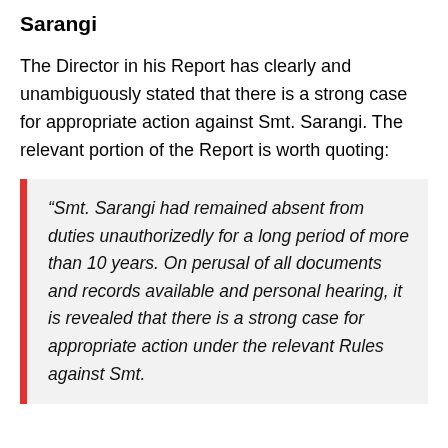Sarangi
The Director in his Report has clearly and unambiguously stated that there is a strong case for appropriate action against Smt. Sarangi. The relevant portion of the Report is worth quoting:
“Smt. Sarangi had remained absent from duties unauthorizedly for a long period of more than 10 years. On perusal of all documents and records available and personal hearing, it is revealed that there is a strong case for appropriate action under the relevant Rules against Smt.